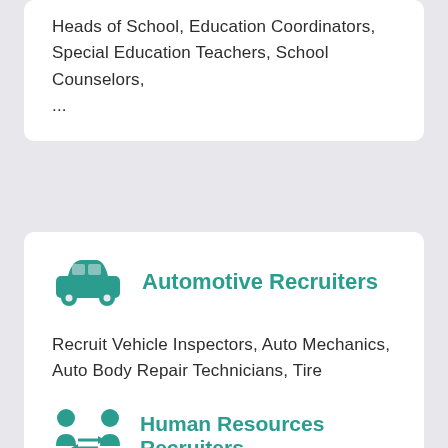Heads of School, Education Coordinators, Special Education Teachers, School Counselors, ...
Automotive Recruiters
Recruit Vehicle Inspectors, Auto Mechanics, Auto Body Repair Technicians, Tire Technicians, Auto Electricians, Auto Instructors, ...
Human Resources Recruiters